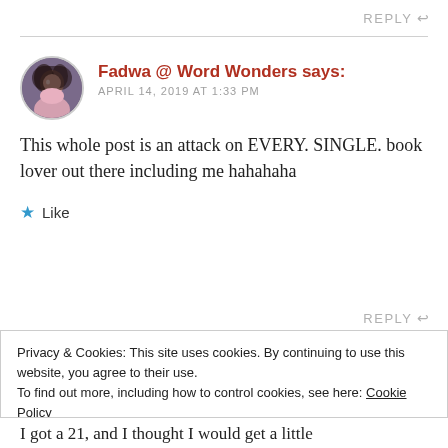REPLY
Fadwa @ Word Wonders says:
APRIL 14, 2019 AT 1:33 PM
This whole post is an attack on EVERY. SINGLE. book lover out there including me hahahaha
★ Like
REPLY
Privacy & Cookies: This site uses cookies. By continuing to use this website, you agree to their use.
To find out more, including how to control cookies, see here: Cookie Policy
Close and accept
I got a 21, and I thought I would get a little